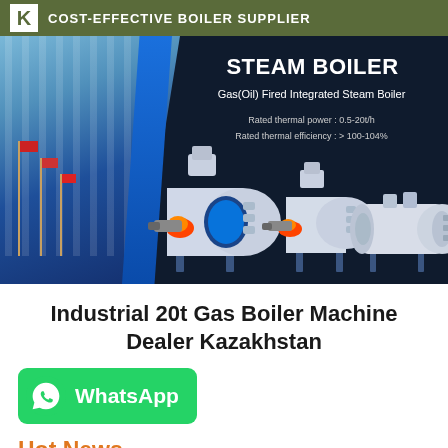COST-EFFECTIVE BOILER SUPPLIER
[Figure (photo): Steam boiler product promotional banner showing Gas(Oil) Fired Integrated Steam Boiler with three boiler units on dark background. Text: STEAM BOILER, Gas(Oil) Fired Integrated Steam Boiler, Rated thermal power: 0.5-20t/h, Rated thermal efficiency: > 100-104%]
Industrial 20t Gas Boiler Machine Dealer Kazakhstan
[Figure (logo): WhatsApp button with phone icon and text 'WhatsApp']
Hot News